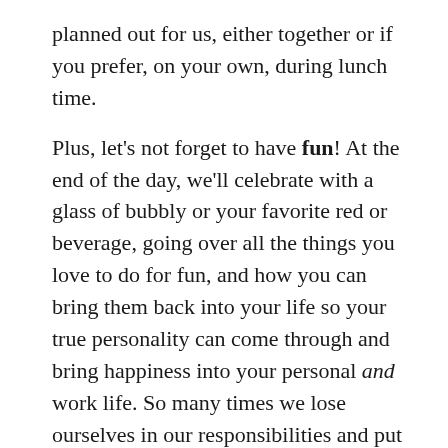planned out for us, either together or if you prefer, on your own, during lunch time.
Plus, let's not forget to have fun! At the end of the day, we'll celebrate with a glass of bubbly or your favorite red or beverage, going over all the things you love to do for fun, and how you can bring them back into your life so your true personality can come through and bring happiness into your personal and work life. So many times we lose ourselves in our responsibilities and put fun and enjoyment on the shelf. And then we worry we we burn out, get bored or feel discontent!   Being an adult doesn't mean we only can allow time for obligations, chores and hard work.  A fulfilling existence includes showing yourself the love and respect to cultivate what makes life worth living